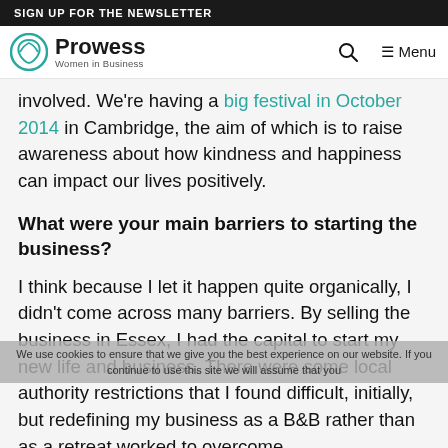SIGN UP FOR THE NEWSLETTER
Prowess Women in Business — Menu
involved. We're having a big festival in October 2014 in Cambridge, the aim of which is to raise awareness about how kindness and happiness can impact our lives positively.
What were your main barriers to starting the business?
I think because I let it happen quite organically, I didn't come across many barriers. By selling the business in Essex, I had the capital to start my new life and business. There were some local authority restrictions that I found difficult, initially, but redefining my business as a B&B rather than as a retreat worked to overcome